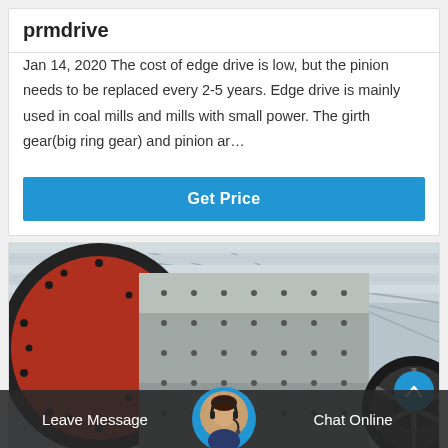prmdrive
Jan 14, 2020 The cost of edge drive is low, but the pinion needs to be replaced every 2-5 years. Edge drive is mainly used in coal mills and mills with small power. The girth gear(big ring gear) and pinion ar…
[Figure (other): Blue 'Get Price' button]
[Figure (photo): Industrial ball mill inside a warehouse showing large red and silver cylindrical mill body with bolted flanges and a gear wheel, inside a metal-roofed building.]
Leave Message   Chat Online